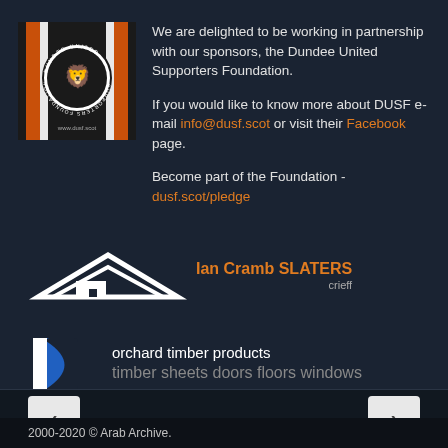[Figure (logo): Dundee United Supporters Foundation circular logo with lion emblem, orange and white stripes, on dark background. Website www.dusf.scot shown below.]
We are delighted to be working in partnership with our sponsors, the Dundee United Supporters Foundation.

If you would like to know more about DUSF e-mail info@dusf.scot or visit their Facebook page.

Become part of the Foundation - dusf.scot/pledge
[Figure (logo): Ian Cramb SLATERS Crieff logo - white roof/house silhouette icon with orange text 'Ian Cramb SLATERS' and grey text 'crieff']
[Figure (logo): Orchard Timber Products logo - blue D-shape icon with white text 'orchard timber products' and tagline 'timber sheets doors floors windows']
2000-2020 © Arab Archive.